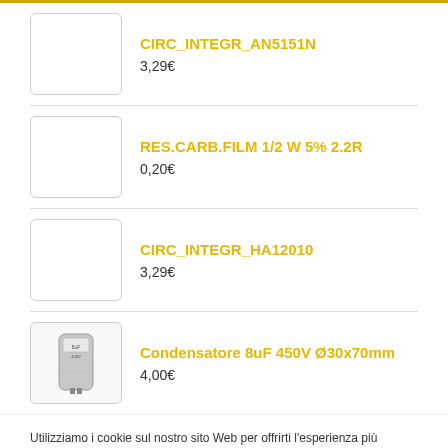CIRC_INTEGR_AN5151N
3,29€
RES.CARB.FILM 1/2 W 5% 2.2R
0,20€
CIRC_INTEGR_HA12010
3,29€
Condensatore 8uF 450V Ø30x70mm
4,00€
Utilizziamo i cookie sul nostro sito Web per offrirti l'esperienza più pertinente ricordando le tue preferenze e ripetendo le visite. Cliccando su "Accetta tutto", acconsenti all'uso di TUTTI i cookie. Tuttavia, puoi visitare "Impostazioni cookie" per fornire un consenso controllato.
Imposta Cookie
Accetta tutti